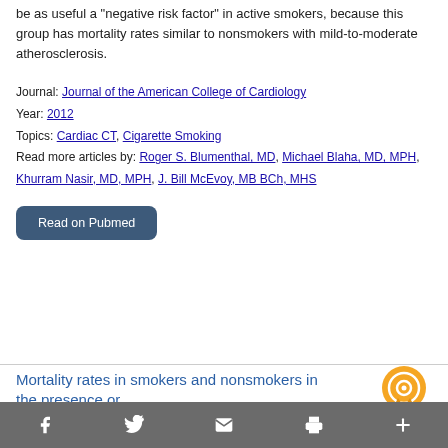be as useful a "negative risk factor" in active smokers, because this group has mortality rates similar to nonsmokers with mild-to-moderate atherosclerosis.
Journal: Journal of the American College of Cardiology
Year: 2012
Topics: Cardiac CT, Cigarette Smoking
Read more articles by: Roger S. Blumenthal, MD, Michael Blaha, MD, MPH, Khurram Nasir, MD, MPH, J. Bill McEvoy, MB BCh, MHS
Read on Pubmed
Mortality rates in smokers and nonsmokers in the presence or